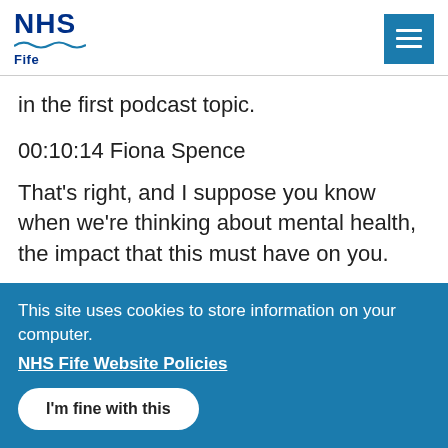NHS Fife
in the first podcast topic.
00:10:14 Fiona Spence
That's right, and I suppose you know when we're thinking about mental health, the impact that this must have on you.
This site uses cookies to store information on your computer.
NHS Fife Website Policies
I'm fine with this